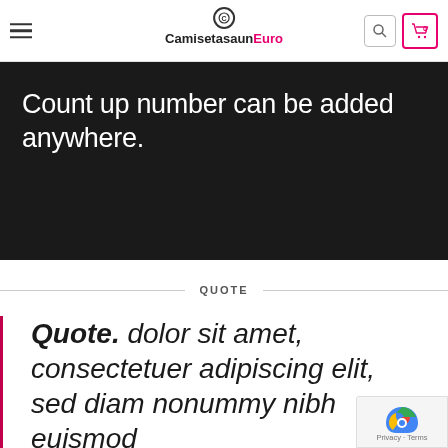CamisetasaunEuro
Count up number can be added anywhere.
QUOTE
Quote. dolor sit amet, consectetuer adipiscing elit, sed diam nonummy nibh euismod